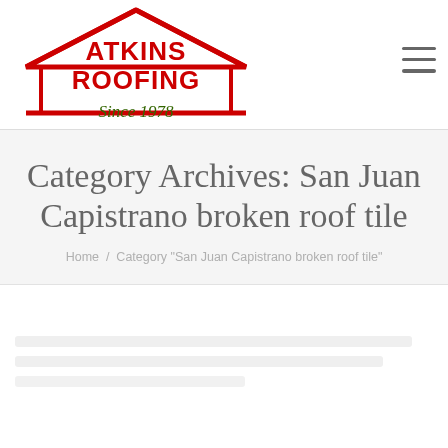[Figure (logo): Atkins Roofing logo with red house outline, red text 'ATKINS ROOFING' and green cursive text 'Since 1978']
Category Archives: San Juan Capistrano broken roof tile
Home / Category "San Juan Capistrano broken roof tile"